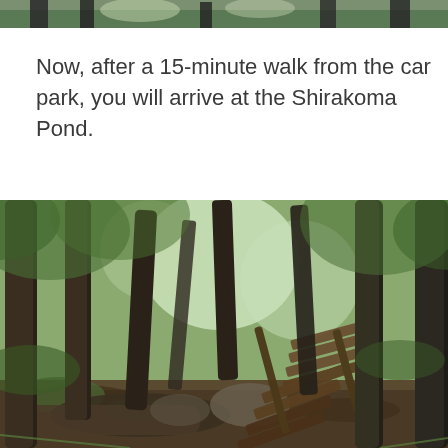[Figure (photo): Partial top strip of a nature photo showing treetops and sky]
Now, after a 15-minute walk from the car park, you will arrive at the Shirakoma Pond.
[Figure (photo): A forest trail with wooden plank staircase/walkway leading up through tall conifers with green foliage and moss-covered rocks, leading toward Shirakoma Pond]